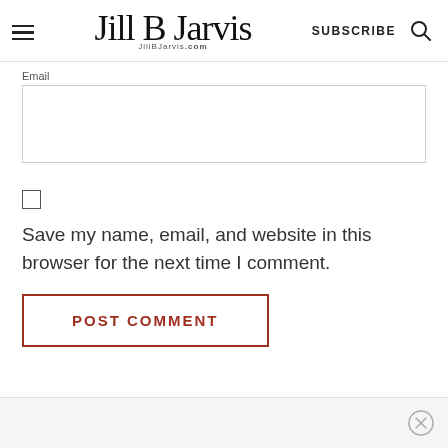Jill B Jarvis | JillBJarvis.com | SUBSCRIBE
Email
Save my name, email, and website in this browser for the next time I comment.
POST COMMENT